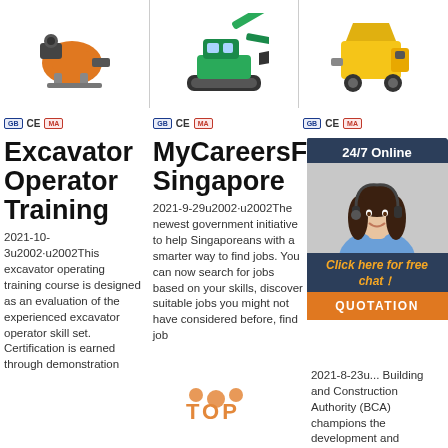[Figure (photo): Three product equipment images in a row at top: orange blower/mixer machine, green mini excavator on tracks, yellow construction pump on wheels]
certification logos: GB, CE, MA marks for each product column
Excavator Operator Training
2021-10-3u2002·u2002This excavator operating training course is designed as an evaluation of the experienced excavator operator skill set. Certification is earned through demonstration
MyCareersFuture Singapore
2021-9-29u2002·u2002The newest government initiative to help Singaporeans with a smarter way to find jobs. You can now search for jobs based on your skills, discover suitable jobs you might not have considered before, find job
Building and Construction Authority (BCA)
2021-8-23u2002... Building and Construction Authority (BCA) champions the development and transformation of the
[Figure (photo): 24/7 online chat widget with female agent wearing headset, orange QUOTATION button, dark navy background with orange and white text]